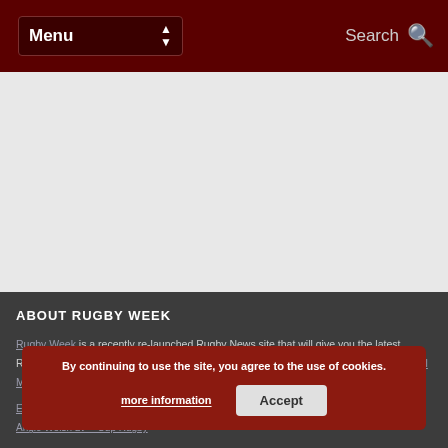Menu | Search
[Figure (screenshot): Light grey content/advertisement area between navigation and footer]
ABOUT RUGBY WEEK
Rugby Week is a recently re-launched Rugby News site that will give you the latest Rugby News, Results, Fixtures and Injury news. Rugby Week is part of the Sports Digital Media stable and it's sister news sites are Cricket Week and Football Week.
European Rugby Champions Cup Rugby
Anglo Welsh LV = Cup Rugby
By continuing to use the site, you agree to the use of cookies. more information | Accept